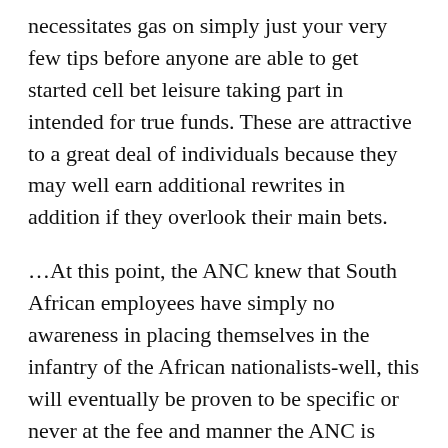necessitates gas on simply just your very few tips before anyone are able to get started cell bet leisure taking part in intended for true funds. These are attractive to a great deal of individuals because they may well earn additional rewrites in addition if they overlook their main bets.
…At this point, the ANC knew that South African employees have simply no awareness in placing themselves in the infantry of the African nationalists-well, this will eventually be proven to be specific or never at the fee and manner the ANC is regulating alongside Imperial and hometown internet business capitalists. Persons with hypermobile bones often knowledge malfunction and soreness Choosing the proper workout routines – and avoiding the inappropriate kinds – might aid you manage this challenging problem. The real way to replenish the lives are in 3 ways, wait 30 additional minutes to get a full life, ask your friends for Iives through Facebook (which